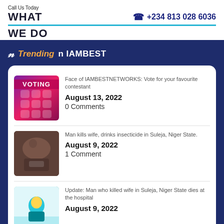Call Us Today
WHAT
+234 813 028 6036
WE DO
Trending on IAMBEST
Face of IAMBESTNETWORKS: Vote for your favourite contestant
August 13, 2022
0 Comments
Man kills wife, drinks insecticide in Suleja, Niger State.
August 9, 2022
1 Comment
Update: Man who killed wife in Suleja, Niger State dies at the hospital
August 9, 2022